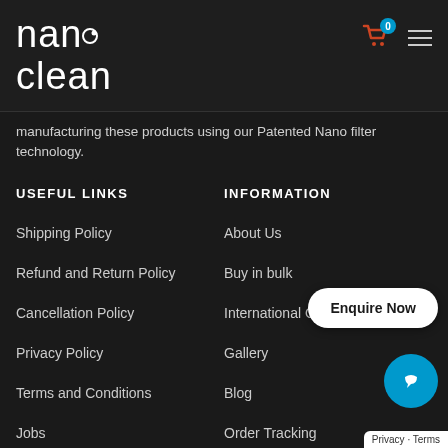nanoclean
manufacturing these products using our Patented Nano filter technology.
USEFUL LINKS
INFORMATION
Shipping Policy
About Us
Refund and Return Policy
Buy in bulk
Cancellation Policy
International Order
Privacy Policy
Gallery
Terms and Conditions
Blog
Jobs
Order Tracking
Contact Us
Enquire Now
Privacy · Terms